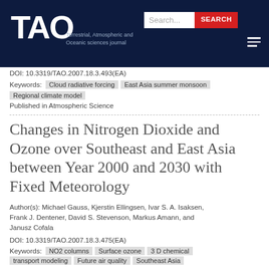TAO Terrestrial, Atmospheric and Oceanic sciences journal
DOI: 10.3319/TAO.2007.18.3.493(EA)
Keywords: Cloud radiative forcing  East Asia summer monsoon  Regional climate model
Published in Atmospheric Science
Changes in Nitrogen Dioxide and Ozone over Southeast and East Asia between Year 2000 and 2030 with Fixed Meteorology
Author(s): Michael Gauss, Kjerstin Ellingsen, Ivar S. A. Isaksen, Frank J. Dentener, David S. Stevenson, Markus Amann, and Janusz Cofala
DOI: 10.3319/TAO.2007.18.3.475(EA)
Keywords: NO2 columns  Surface ozone  3 D chemical transport modeling  Future air quality  Southeast Asia